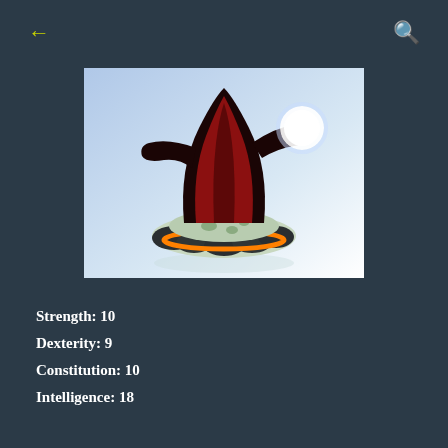[Figure (photo): A Skylanders toy figurine showing a creature in a dark robe/cloak with a glowing white orb, standing on a rocky base with an orange ring, photographed against a light blue-white gradient background.]
Strength: 10
Dexterity: 9
Constitution: 10
Intelligence: 18